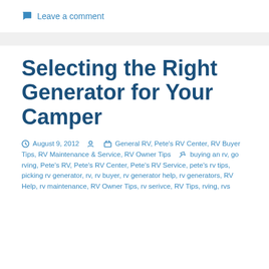Leave a comment
Selecting the Right Generator for Your Camper
August 9, 2012  General RV, Pete's RV Center, RV Buyer Tips, RV Maintenance & Service, RV Owner Tips  buying an rv, go rving, Pete's RV, Pete's RV Center, Pete's RV Service, pete's rv tips, picking rv generator, rv, rv buyer, rv generator help, rv generators, RV Help, rv maintenance, RV Owner Tips, rv serivce, RV Tips, rving, rvs